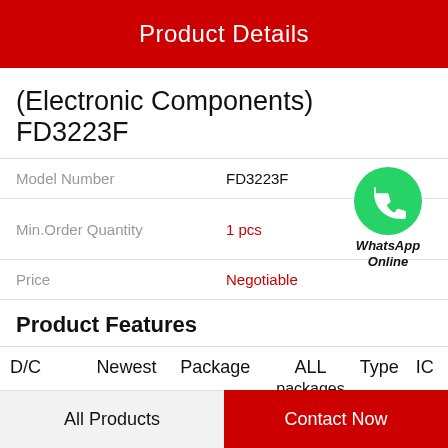Product Details
(Electronic Components) FD3223F
| Field | Value |
| --- | --- |
| Model Number | FD3223F |
| Min.Order Quantity | 1 pcs |
| Price | Negotiable |
[Figure (logo): WhatsApp green phone icon with text WhatsApp Online]
Product Features
| D/C | Newest | Package | ALL packages | Type | IC |
| --- | --- | --- | --- | --- | --- |
| Place of | Taiwan | Date |  |  |  |
All Products    Contact Now